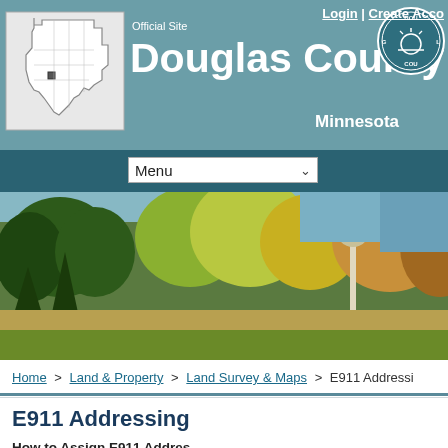Login | Create Account
Douglas County Minnesota
[Figure (screenshot): Douglas County Minnesota official website header with Minnesota state map outline, county seal, Menu dropdown, and nature photo banner showing trees and field]
Home > Land & Property > Land Survey & Maps > E911 Addressing
E911 Addressing
How to Assign E911 Address